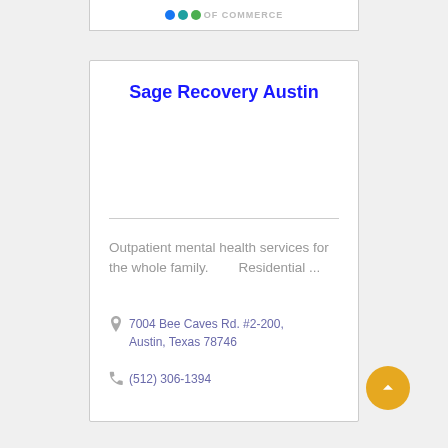[Figure (logo): Chamber of Commerce logo with colored dots and text]
Sage Recovery Austin
Outpatient mental health services for the whole family.        Residential ...
7004 Bee Caves Rd. #2-200, Austin, Texas 78746
(512) 306-1394